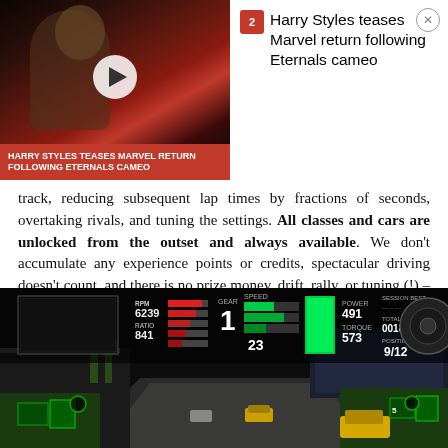[Figure (screenshot): Video ad overlay showing Harry Styles crowd scene with red bar text 'HARRY STYLES TEASES MARVEL RETURN FOLLOWING ETERNALS CAMEO' and sidebar with article title 'Harry Styles teases Marvel return following Eternals cameo']
track, reducing subsequent lap times by fractions of seconds, overtaking rivals, and tuning the settings. All classes and cars are unlocked from the outset and always available. We don't accumulate any experience points or credits, spectacular driving doesn't count, and there is no prize money, drift, rally, or tuning (!) – Project CARS is simply about the joy of driving in circles on an asphalt track, and a return to the old simulators by SimBin.
[Figure (screenshot): Project CARS racing game screenshot showing in-game HUD with RPM 6239, RATIO 841, GEAR 1, SPEED 23, POWER 491, TORQUE 573, SESSION BEST, TOTAL TIME 00189, POSITION 9/12, and a racing scene at what appears to be Monza circuit with yellow cars visible]